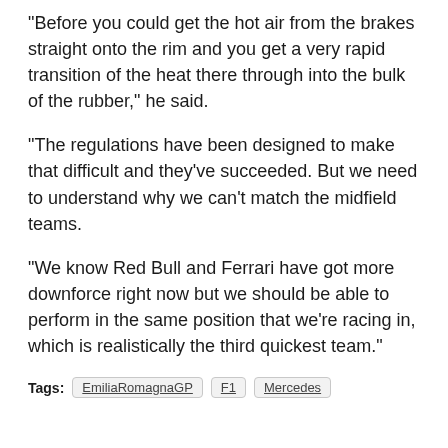“Before you could get the hot air from the brakes straight onto the rim and you get a very rapid transition of the heat there through into the bulk of the rubber,” he said.
“The regulations have been designed to make that difficult and they’ve succeeded. But we need to understand why we can’t match the midfield teams.
“We know Red Bull and Ferrari have got more downforce right now but we should be able to perform in the same position that we’re racing in, which is realistically the third quickest team.”
Tags: EmiliaRomagnaGP  F1  Mercedes